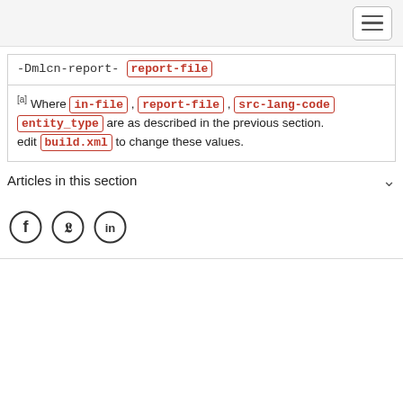[hamburger menu button]
-Dmlcn-report- report-file
[a] Where in-file , report-file , src-lang-code entity_type are as described in the previous section. edit build.xml to change these values.
Articles in this section
[Figure (other): Social media share icons: Facebook, Twitter, LinkedIn]